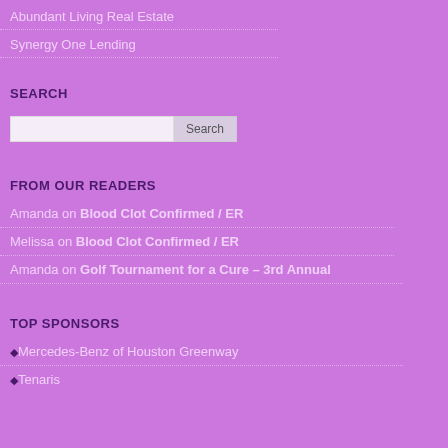Abundant Living Real Estate
Synergy One Lending
SEARCH
[Figure (other): Search input box with Search button]
FROM OUR READERS
Amanda on Blood Clot Confirmed / ER
Melissa on Blood Clot Confirmed / ER
Amanda on Golf Tournament for a Cure – 3rd Annual
TOP SPONSORS
Mercedes-Benz of Houston Greenway
Tenaris